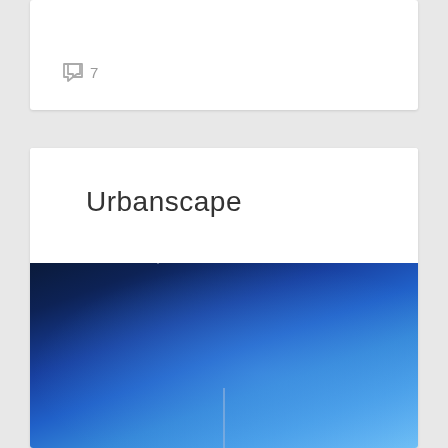💬 7
Urbanscape
[Figure (photo): Blue sky urban photograph with gradient from dark navy at top-left to bright blue at center-right, with a faint antenna or pole visible at the bottom center]